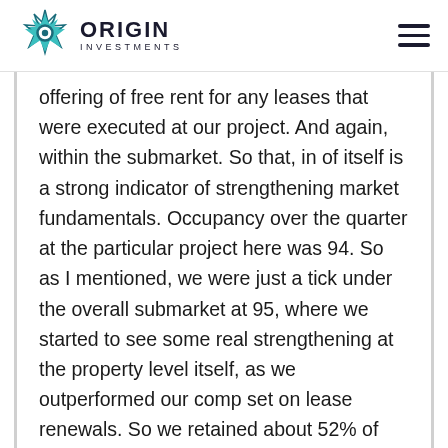ORIGIN INVESTMENTS
offering of free rent for any leases that were executed at our project. And again, within the submarket. So that, in of itself is a strong indicator of strengthening market fundamentals. Occupancy over the quarter at the particular project here was 94. So as I mentioned, we were just a tick under the overall submarket at 95, where we started to see some real strengthening at the property level itself, as we outperformed our comp set on lease renewals. So we retained about 52% of our expiring leases at the project. And while doing so, we grew our effective rents